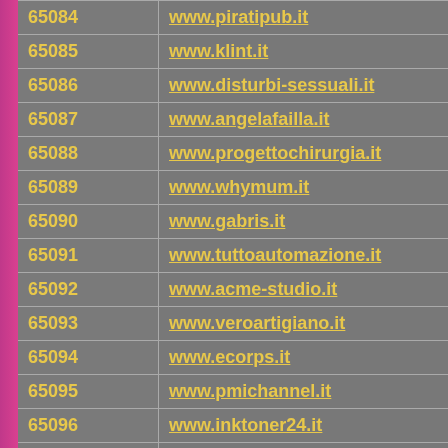| ID | URL |
| --- | --- |
| 65084 | www.piratipub.it |
| 65085 | www.klint.it |
| 65086 | www.disturbi-sessuali.it |
| 65087 | www.angelafailla.it |
| 65088 | www.progettochirurgia.it |
| 65089 | www.whymum.it |
| 65090 | www.gabris.it |
| 65091 | www.tuttoautomazione.it |
| 65092 | www.acme-studio.it |
| 65093 | www.veroartigiano.it |
| 65094 | www.ecorps.it |
| 65095 | www.pmichannel.it |
| 65096 | www.inktoner24.it |
| 65097 | www.ufficiomilano.it |
| 65098 | www.adaltavoce.it |
| 65099 | www.housescout24.it |